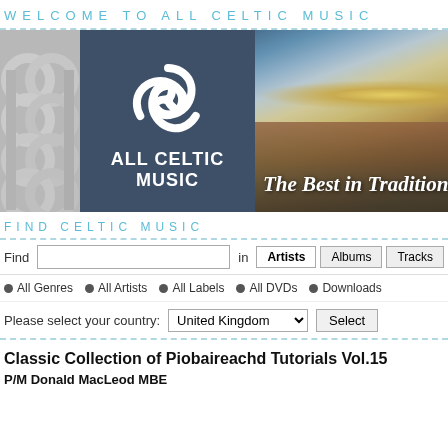WELCOME TO ALL CELTIC MUSIC
[Figure (logo): All Celtic Music website banner with Celtic knot graphic on left, dark blue-grey logo panel with triskelion symbol and text ALL CELTIC MUSIC in center, and seascape photo on right with text The Best in Tradition]
FIND CELTIC MUSIC
Find [search box] in Artists | Albums | Tracks
All Genres
All Artists
All Labels
All DVDs
Downloads
Please select your country: United Kingdom [Select]
Classic Collection of Piobaireachd Tutorials Vol.15
P/M Donald MacLeod MBE